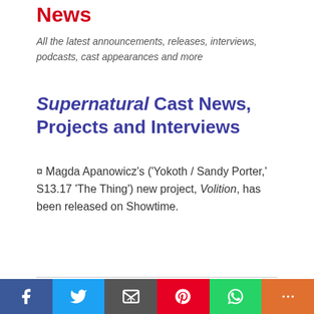News
All the latest announcements, releases, interviews, podcasts, cast appearances and more
Supernatural Cast News, Projects and Interviews
¤ Magda Apanowicz's ('Yokoth / Sandy Porter,' S13.17 'The Thing') new project, Volition, has been released on Showtime.